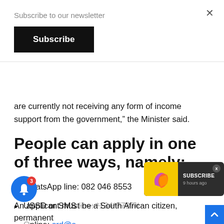Subscribe to our newsletter
Subscribe
are currently not receiving any form of income support from the government,” the Minister said.
People can apply in one of three ways, namely:
WhatsApp line: 082 046 8553
USSD or SMS line: *134*7737#
Online: srd@s…
An applicant must be a South African citizen, permanent